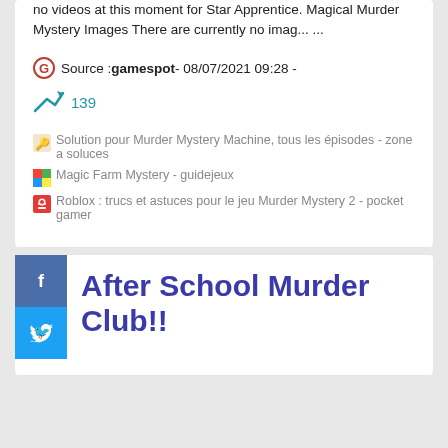no videos at this moment for Star Apprentice. Magical Murder Mystery Images There are currently no imag... ...
Source : gamespot - 08/07/2021 09:28 -
139
Solution pour Murder Mystery Machine, tous les épisodes - zone a soluces
Magic Farm Mystery - guidejeux
Roblox : trucs et astuces pour le jeu Murder Mystery 2 - pocket gamer
After School Murder Club!!